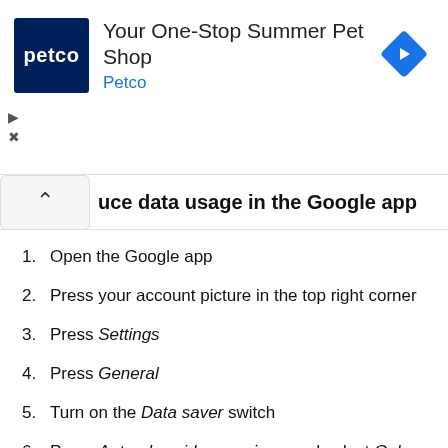[Figure (infographic): Petco advertisement banner with Petco logo on dark blue background, headline 'Your One-Stop Summer Pet Shop', subheadline 'Petco' in blue, and a blue diamond navigation arrow icon on the right. Small play and close (X) controls on the left below the ad.]
uce data usage in the Google app
Open the Google app
Press your account picture in the top right corner
Press Settings
Press General
Turn on the Data saver switch
Press Auto-play video previews and select Only on Wi-Fi or Never